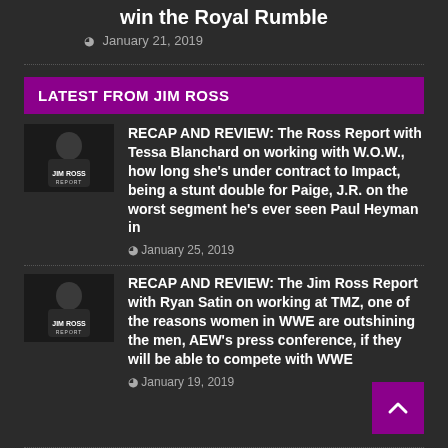win the Royal Rumble
January 21, 2019
LATEST FROM JIM ROSS
[Figure (photo): Jim Ross Report thumbnail image with man in black and 'JIM ROSS REPORT' text]
RECAP AND REVIEW: The Ross Report with Tessa Blanchard on working with W.O.W., how long she's under contract to Impact, being a stunt double for Paige, J.R. on the worst segment he's ever seen Paul Heyman in
January 25, 2019
[Figure (photo): Jim Ross Report thumbnail image with man in black and 'JIM ROSS REPORT' text]
RECAP AND REVIEW: The Jim Ross Report with Ryan Satin on working at TMZ, one of the reasons women in WWE are outshining the men, AEW's press conference, if they will be able to compete with WWE
January 19, 2019